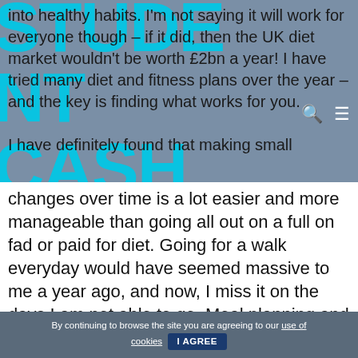[Figure (logo): STUDENT CASH FLOW logo watermark in cyan/blue overlaid on gray-blue background]
into healthy habits. I'm not saying it will work for everyone though – if it did, then the UK diet market wouldn't be worth £2bn a year! I have tried many diet and fitness plans over the year – and the key is finding what works for you.

I have definitely found that making small changes over time is a lot easier and more manageable than going all out on a full on fad or paid for diet. Going for a walk everyday would have seemed massive to me a year ago, and now, I miss it on the days I am not able to go. Meal planning and throwing in extra
By continuing to browse the site you are agreeing to our use of cookies  I AGREE